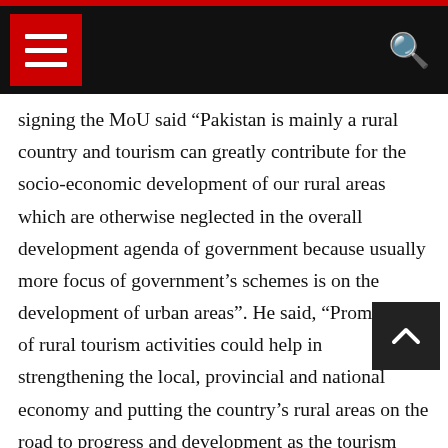Navigation bar with hamburger menu and search icon
signing the MoU said “Pakistan is mainly a rural country and tourism can greatly contribute for the socio-economic development of our rural areas which are otherwise neglected in the overall development agenda of government because usually more focus of government’s schemes is on the development of urban areas”. He said, “Promotion of rural tourism activities could help in strengthening the local, provincial and national economy and putting the country’s rural areas on the road to progress and development as the tourism helps in the development of rural areas and living standards of host communities”.
He further said, “Rural tourism encourages local communities to revive and preserve their traditions, crafts, traditional festivals, architecture and other unique practices. Recently, UNWTO has also launched the Best Tourism Villages initiative at global level to advance the role of tourism in valuing and safeguarding rural villages along with their associated landscapes, knowledge systems, biological and cultural diversity,